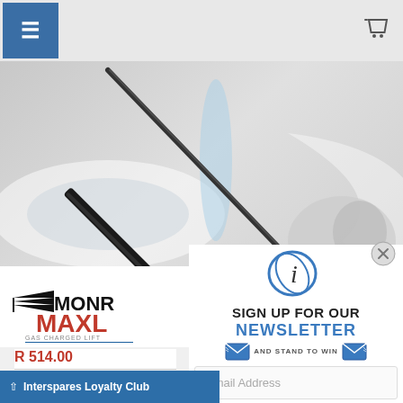[Figure (screenshot): Top navigation bar with hamburger menu button (blue) on the left and shopping cart icon on the right, on a light grey background]
[Figure (photo): Product image showing a black gas strut / lift support rod on a grey and white swoosh background]
[Figure (logo): Monroe MAXL Gas Charged Lift Support logo in black and red text]
R 514.00
TOYOTA
[Figure (infographic): Newsletter signup popup with Interspares logo (blue circular icon with stylized i), text 'SIGN UP FOR OUR NEWSLETTER AND STAND TO WIN' with email envelope icons, an email address input field, and a blue SIGN UP! button]
Interspares Loyalty Club